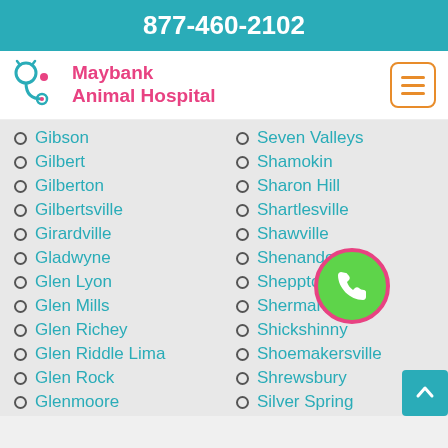877-460-2102
[Figure (logo): Maybank Animal Hospital logo with stethoscope and paw icon]
Gibson
Gilbert
Gilberton
Gilbertsville
Girardville
Gladwyne
Glen Lyon
Glen Mills
Glen Richey
Glen Riddle Lima
Glen Rock
Glenmoore
Seven Valleys
Shamokin
Sharon Hill
Shartlesville
Shawville
Shenandoah
Sheppton
Shermans Dale
Shickshinny
Shoemakersville
Shrewsbury
Silver Spring